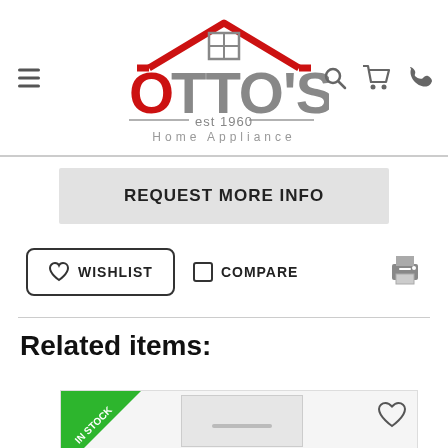[Figure (logo): Otto's Home Appliance logo — red OTTO lettering with house/roof icon in red, est 1960 subtitle, Home Appliance tagline in grey]
REQUEST MORE INFO
WISHLIST
COMPARE
Related items:
[Figure (screenshot): Product card showing IN STOCK green diagonal badge, white appliance product image, and a heart wishlist icon]